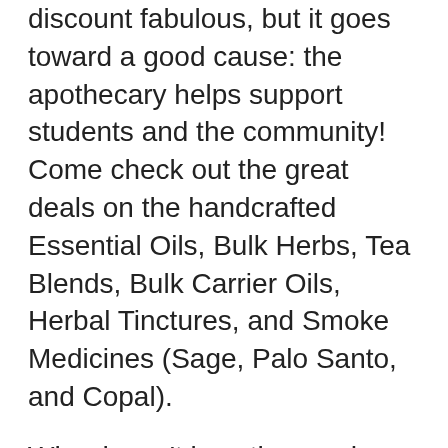discount fabulous, but it goes toward a good cause: the apothecary helps support students and the community! Come check out the great deals on the handcrafted Essential Oils, Bulk Herbs, Tea Blends, Bulk Carrier Oils, Herbal Tinctures, and Smoke Medicines (Sage, Palo Santo, and Copal).
Who doesn't love the word free? Massage students will be giving FREE mini Thai Yoga Massage sessions during the sale, and Herbal students will be offering FREE Plant Brushing/Limpia sessions using herbs fresh from the school garden. There will also be FREE samplings of herbal